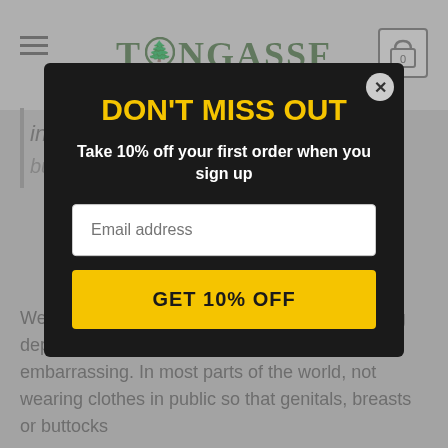TONGASSF
in public so that genitals, breasts or buttocks are visible
Wearing clothes is also a social norm, and being deprived of clothing in front of others may be embarrassing. In most parts of the world, not wearing clothes in public so that genitals, breasts or buttocks
[Figure (screenshot): Email signup modal popup with dark background. Title: DON'T MISS OUT in yellow bold text. Subtitle: Take 10% off your first order when you sign up. Email address input field. GET 10% OFF button in yellow. Close X button in top right corner.]